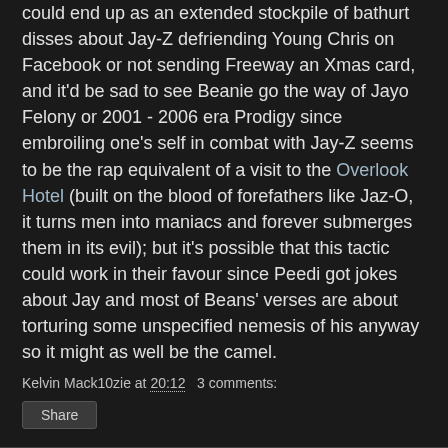could end up as an extended stockpile of bathurt disses about Jay-Z defriending Young Chris on Facebook or not sending Freeway an Xmas card, and it'd be sad to see Beanie go the way of Jayo Felony or 2001 - 2006 era Prodigy since embroiling one's self in combat with Jay-Z seems to be the rap equivalent of a visit to the Overlook Hotel (built on the blood of forefathers like Jaz-O, it turns men into maniacs and forever submerges them in its evil); but it's possible that this tactic could work in their favour since Peedi got jokes about Jay and most of Beans' verses are about torturing some unspecified nemesis of his anyway so it might as well be the camel.
Kelvin Mack10zie at 20:12   3 comments:
Share
Friday, 18 February 2011
Greatest movie scenes ever # 37
Poor Jack - he made a fortune off Joker merchandise bearing his image following Batman, and that line from A